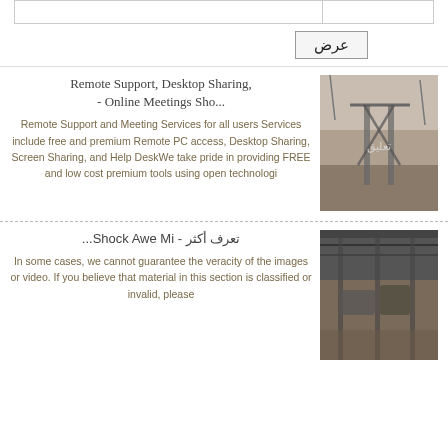|  |  |
| عرض |  |
Remote Support, Desktop Sharing, - Online Meetings Sho...
[Figure (photo): Industrial structure photo with Arabic text overlay]
Remote Support and Meeting Services for all users Services include free and premium Remote PC access, Desktop Sharing, Screen Sharing, and Help DeskWe take pride in providing FREE and low cost premium tools using open technologi
تعرف أكثر - Shock Awe Mi...
[Figure (photo): Industrial interior photo]
In some cases, we cannot guarantee the veracity of the images or video. If you believe that material in this section is classified or invalid, please